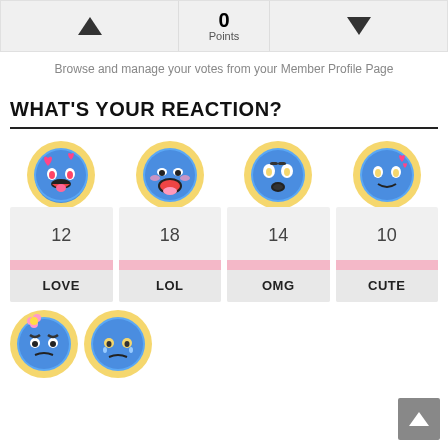[Figure (infographic): Vote bar with up arrow, 0 Points center, down arrow]
Browse and manage your votes from your Member Profile Page
WHAT'S YOUR REACTION?
[Figure (infographic): Four reaction emojis (LOVE, LOL, OMG, CUTE) with counts 12, 18, 14, 10]
[Figure (infographic): Two more reaction emojis at the bottom (angry and sad)]